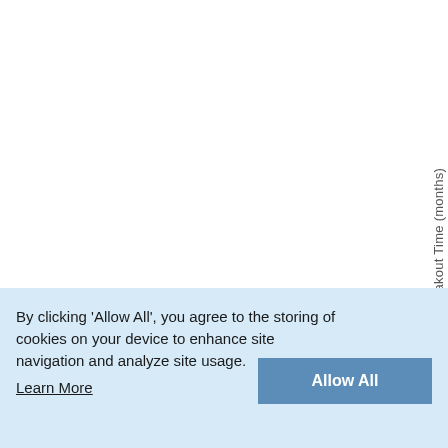[Figure (continuous-plot): Partial view of a chart showing 'Breakout Time (months)' on the vertical (y) axis, rotated 90 degrees. The chart appears to show mean breakout time with range. Only the right edge and axis label are visible.]
Mean (with range) breakout tim
By clicking 'Allow All', you agree to the storing of cookies on your device to enhance site navigation and analyze site usage.
Learn More
Allow All